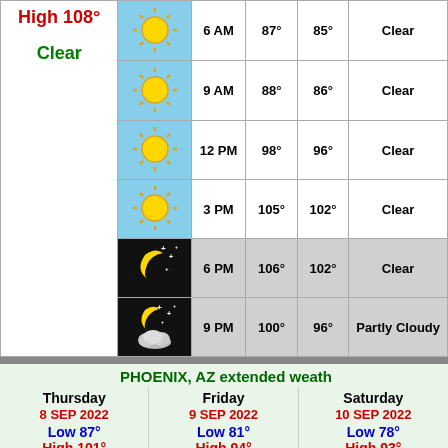| Condition | Icon | Time | Temp | Feels | Sky |
| --- | --- | --- | --- | --- | --- |
| High 108° | sun | 6 AM | 87° | 85° | Clear |
| Clear | sun | 9 AM | 88° | 86° | Clear |
|  | sun | 12 PM | 98° | 96° | Clear |
|  | sun | 3 PM | 105° | 102° | Clear |
|  | moon | 6 PM | 106° | 102° | Clear |
|  | moon-cloud | 9 PM | 100° | 96° | Partly Cloudy |
PHOENIX, AZ extended weath
| Thursday 8 SEP 2022 | Friday 9 SEP 2022 | Saturday 10 SEP 2022 |
| --- | --- | --- |
| Low 87° | Low 81° | Low 78° |
| High 101° | High 94° | High 93° |
| [sun icon] | [partly cloudy icon] | [overcast icon] |
| Clear
1% Rain | Partly Cloudy
10% Rain | Overcast
50% Rain |